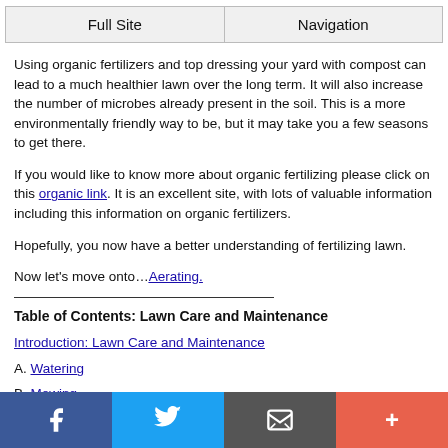Full Site | Navigation
Using organic fertilizers and top dressing your yard with compost can lead to a much healthier lawn over the long term. It will also increase the number of microbes already present in the soil. This is a more environmentally friendly way to be, but it may take you a few seasons to get there.
If you would like to know more about organic fertilizing please click on this organic link. It is an excellent site, with lots of valuable information including this information on organic fertilizers.
Hopefully, you now have a better understanding of fertilizing lawn.
Now let's move onto....Aerating.
Table of Contents: Lawn Care and Maintenance
Introduction: Lawn Care and Maintenance
A. Watering
B. Mowing
C. Fertilizing
D. Aerating
E. Dethatching
F. Topdressing
Facebook | Twitter | Email | More